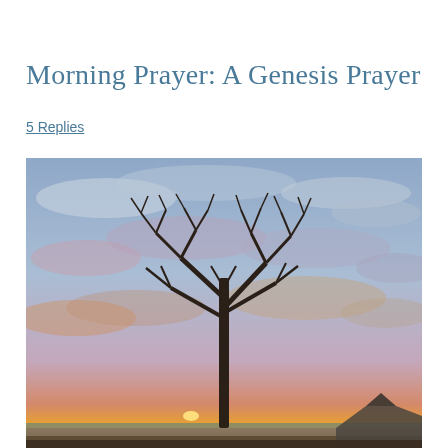Morning Prayer: A Genesis Prayer
5 Replies
[Figure (photo): A sunrise or dawn sky photograph showing a bare leafless tree silhouetted against a dramatic sky with pink, purple, and orange clouds. The sun is just rising on the horizon over what appears to be a lake or open field. A building roofline is visible in the lower right corner. The overall tones are cool blues and purples with warm orange and yellow near the horizon.]